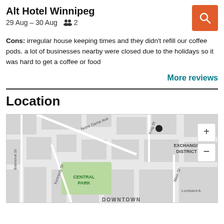Alt Hotel Winnipeg
29 Aug – 30 Aug   👥 2
Cons: irregular house keeping times and they didn't refill our coffee pods. a lot of businesses nearby were closed due to the holidays so it was hard to get a coffee or food
More reviews
Location
[Figure (map): Street map showing downtown Winnipeg area including Exchange District, Central Park, Notre Dame Ave, Balmoral St, Kennedy St, King St, Main St, Lombard Ave, with zoom controls]